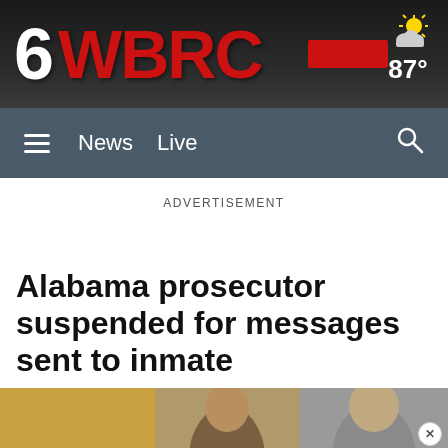[Figure (logo): WBRC 6 news channel logo with large white '6' and red 'WBRC' text on dark background, with weather widget showing sun/cloud icon and 87° temperature]
≡  News  Live  🔍
ADVERTISEMENT
Alabama prosecutor suspended for messages sent to inmate
[Figure (photo): Partial view of two men, likely in a courtroom or official setting, cropped at the bottom of the page]